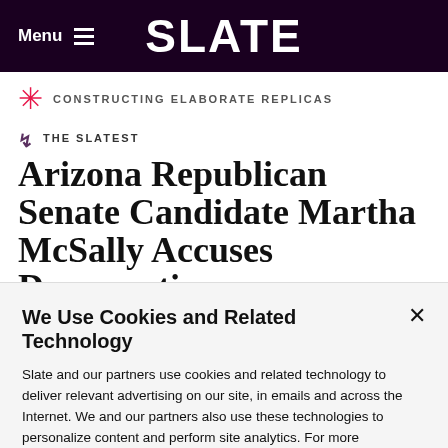Menu  SLATE
CONSTRUCTING ELABORATE REPLICAS
THE SLATEST
Arizona Republican Senate Candidate Martha McSally Accuses Democratic
We Use Cookies and Related Technology
Slate and our partners use cookies and related technology to deliver relevant advertising on our site, in emails and across the Internet. We and our partners also use these technologies to personalize content and perform site analytics. For more information, see our terms and privacy policy.  Privacy Policy
OK